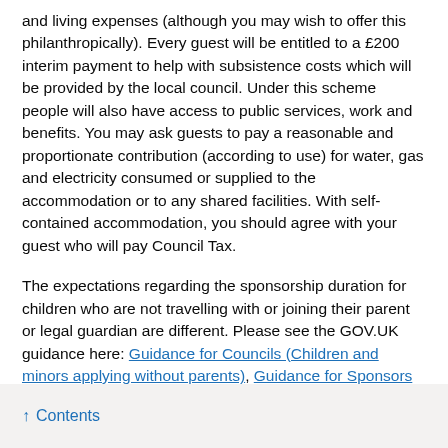and living expenses (although you may wish to offer this philanthropically). Every guest will be entitled to a £200 interim payment to help with subsistence costs which will be provided by the local council. Under this scheme people will also have access to public services, work and benefits. You may ask guests to pay a reasonable and proportionate contribution (according to use) for water, gas and electricity consumed or supplied to the accommodation or to any shared facilities. With self-contained accommodation, you should agree with your guest who will pay Council Tax.
The expectations regarding the sponsorship duration for children who are not travelling with or joining their parent or legal guardian are different. Please see the GOV.UK guidance here: Guidance for Councils (Children and minors applying without parents), Guidance for Sponsors (Children and minors applying without parents) and Guidance for Parents and Legal Guardians (Children and minors applying without parents).
↑ Contents